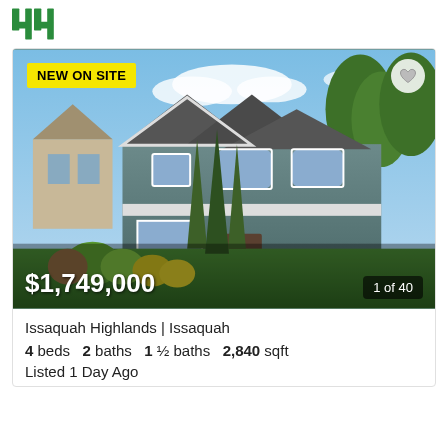[Figure (logo): Green stylized '44' logo mark]
[Figure (photo): Two-story craftsman-style home with grey siding, white trim, stone accents, and lush green landscaping. Badge 'NEW ON SITE' in yellow, price $1,749,000 overlay, heart icon, photo count 1 of 40.]
Issaquah Highlands | Issaquah
4 beds   2 baths   1 ½ baths   2,840 sqft
Listed 1 Day Ago